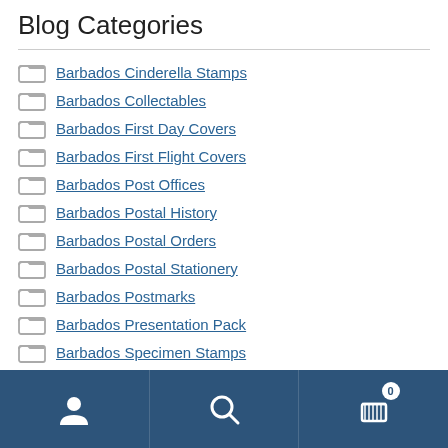Blog Categories
Barbados Cinderella Stamps
Barbados Collectables
Barbados First Day Covers
Barbados First Flight Covers
Barbados Post Offices
Barbados Postal History
Barbados Postal Orders
Barbados Postal Stationery
Barbados Postmarks
Barbados Presentation Pack
Barbados Specimen Stamps
Barbados Stamp Forgeries
Navigation bar with user, search, and cart (0) icons